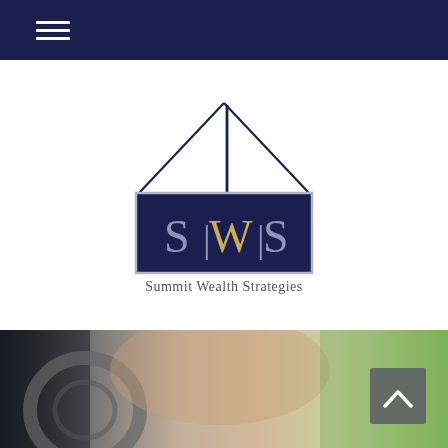Navigation bar with hamburger menu
[Figure (logo): Summit Wealth Strategies logo: dark navy roof/mountain peak outline above a navy rectangle containing 'S|W|S' in stylized lettering with gold W, and 'Summit Wealth Strategies' text below]
[Figure (photo): Close-up background photo of a person's hand on a steering wheel, blurred, with dark and light tones transitioning to greenery]